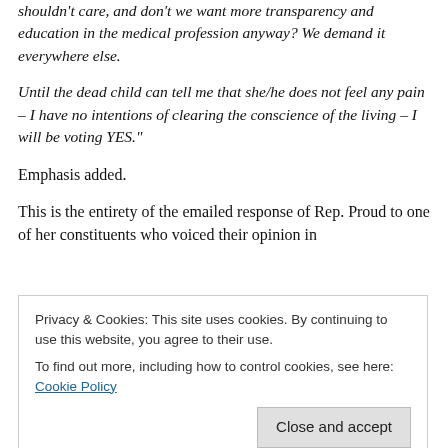shouldn't care, and don't we want more transparency and education in the medical profession anyway? We demand it everywhere else.
Until the dead child can tell me that she/he does not feel any pain – I have no intentions of clearing the conscience of the living – I will be voting YES."
Emphasis added.
This is the entirety of the emailed response of Rep. Proud to one of her constituents who voiced their opinion in
Privacy & Cookies: This site uses cookies. By continuing to use this website, you agree to their use. To find out more, including how to control cookies, see here: Cookie Policy
So let me get this straight...Ms. Proud wants women to